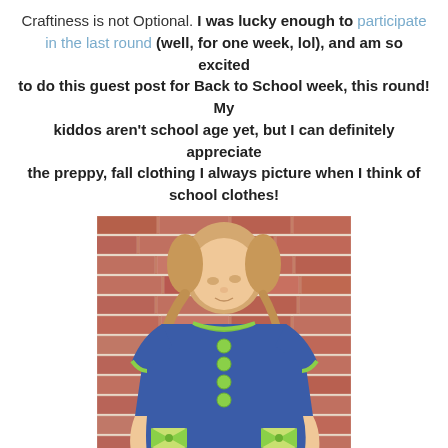Craftiness is not Optional. I was lucky enough to participate in the last round (well, for one week, lol), and am so excited to do this guest post for Back to School week, this round! My kiddos aren't school age yet, but I can definitely appreciate the preppy, fall clothing I always picture when I think of school clothes!
[Figure (photo): A young toddler girl with blonde hair in pigtails, wearing a blue shift dress with green/yellow trim at the neckline and cuffs, green buttons down the front, and green bow pockets at the hem. She is standing in front of a red brick wall, looking down.]